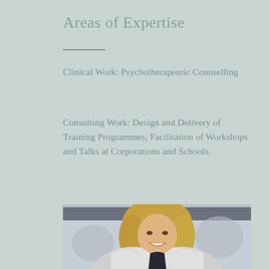Areas of Expertise
Clinical Work: Psychotherapeutic Counselling
Consulting Work: Design and Delivery of Training Programmes, Facilitation of Workshops and Talks at Corporations and Schools.
[Figure (photo): Professional headshot of a smiling blonde woman in a white jacket]